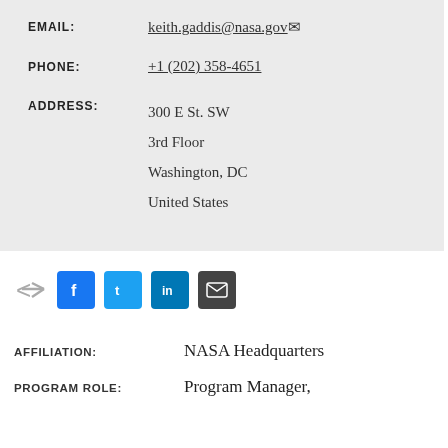EMAIL: keith.gaddis@nasa.gov
PHONE: +1 (202) 358-4651
ADDRESS: 300 E St. SW
3rd Floor
Washington, DC
United States
[Figure (infographic): Share bar with social media icons: Facebook, Twitter, LinkedIn, Email]
AFFILIATION: NASA Headquarters
PROGRAM ROLE: Program Manager,